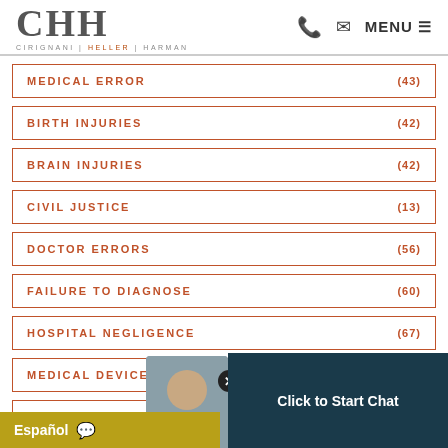CHH CIRIGNANI | HELLER | HARMAN — MENU
MEDICAL ERROR (43)
BIRTH INJURIES (42)
BRAIN INJURIES (42)
CIVIL JUSTICE (13)
DOCTOR ERRORS (56)
FAILURE TO DIAGNOSE (60)
HOSPITAL NEGLIGENCE (67)
MEDICAL DEVICES (4)
MEDICAL MALPRACTICE
[Figure (screenshot): Chat widget overlay with man photo, close button, 'Click to Start Chat' text on dark teal background, and Español bar in gold]